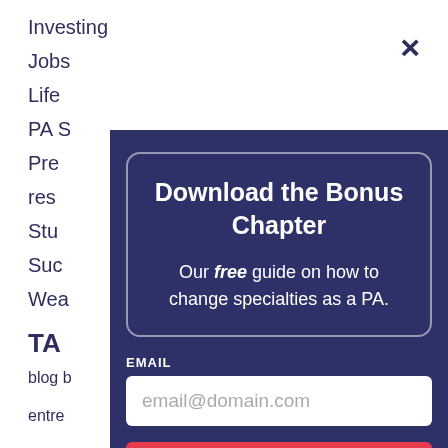Investing
Jobs
Life
PA S
Pre
res
Stu
Suc
Wea
TA
blog b
entre
[Figure (screenshot): Modal popup with dark navy background. Contains a rounded-border inner box with title 'Download the Bonus Chapter', body text 'Our free guide on how to change specialties as a PA.', an EMAIL input field with placeholder 'email@domain.com', and a red button 'DOWNLOAD THE GUIDE!']
Download the Bonus Chapter
Our free guide on how to change specialties as a PA.
EMAIL
email@domain.com
DOWNLOAD THE GUIDE!